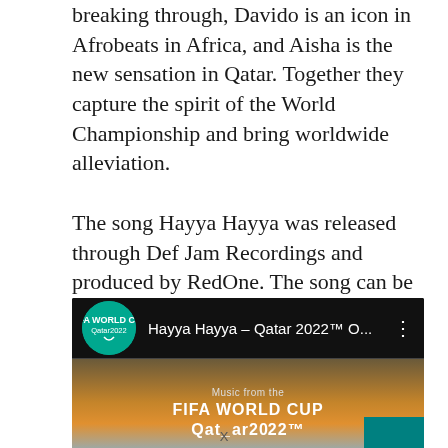breaking through, Davido is an icon in Afrobeats in Africa, and Aisha is the new sensation in Qatar. Together they capture the spirit of the World Championship and bring worldwide alleviation. The song Hayya Hayya was released through Def Jam Recordings and produced by RedOne. The song can be heeded via all streaming services and social media.
[Figure (screenshot): YouTube video player screenshot showing 'Hayya Hayya – Qatar 2022™ O...' with FIFA World Cup Qatar 2022 logo, dark top bar with video title and menu dots, and thumbnail showing a sunset sky with 'Music from the FIFA WORLD CUP Qatar 2022™' text.]
X